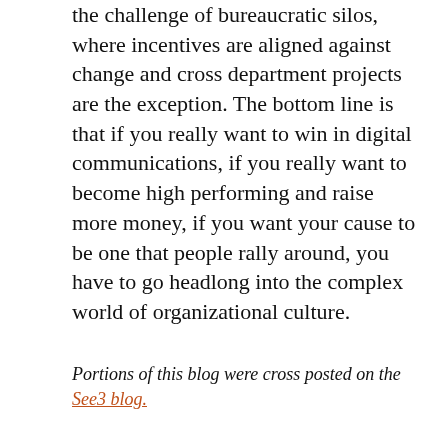the challenge of bureaucratic silos, where incentives are aligned against change and cross department projects are the exception. The bottom line is that if you really want to win in digital communications, if you really want to become high performing and raise more money, if you want your cause to be one that people rally around, you have to go headlong into the complex world of organizational culture.
Portions of this blog were cross posted on the See3 blog.